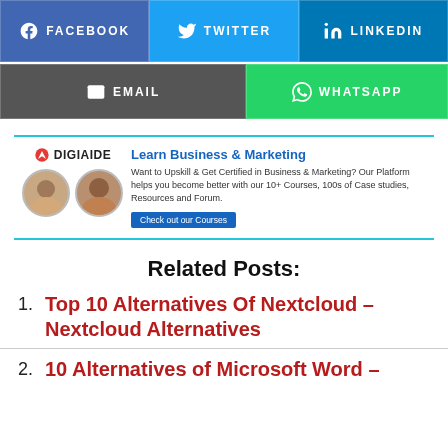[Figure (infographic): Social sharing buttons row: Facebook (blue), Twitter (light blue), LinkedIn (dark blue)]
[Figure (infographic): Social sharing buttons row: Email (gray), WhatsApp (green)]
[Figure (infographic): Digiaide advertisement box with logo, two avatar photos, headline 'Learn Business & Marketing', description text, and 'Check out our Courses' button]
Related Posts:
Top 10 Alternatives Of Nextcloud – Nextcloud Alternatives
10 Alternatives of Microsoft Word –